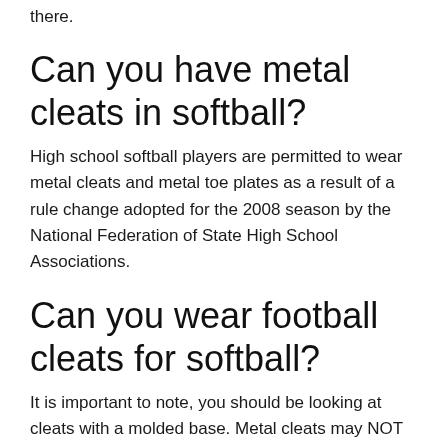there.
Can you have metal cleats in softball?
High school softball players are permitted to wear metal cleats and metal toe plates as a result of a rule change adopted for the 2008 season by the National Federation of State High School Associations.
Can you wear football cleats for softball?
It is important to note, you should be looking at cleats with a molded base. Metal cleats may NOT be worn for any little league division under the age of 13. Also, football